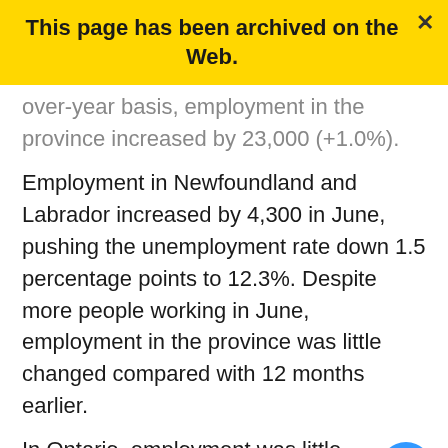This page has been archived on the Web.
over-year basis, employment in the province increased by 23,000 (+1.0%).
Employment in Newfoundland and Labrador increased by 4,300 in June, pushing the unemployment rate down 1.5 percentage points to 12.3%. Despite more people working in June, employment in the province was little changed compared with 12 months earlier.
In Ontario, employment was little changed